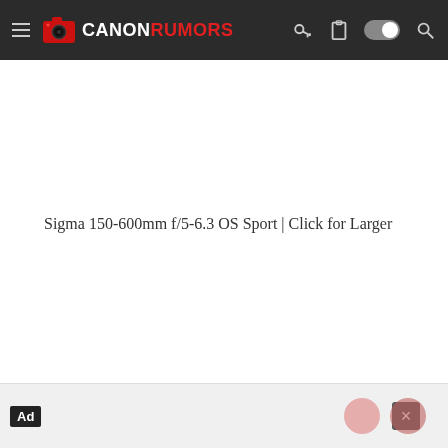Canon Rumors — navigation header with logo, hamburger menu, and icons
Sigma 150-600mm f/5-6.3 OS Sport | Click for Larger
[Figure (screenshot): Ad bar at bottom with Ad badge and close X button, and two pink/red circular buttons in lower right]